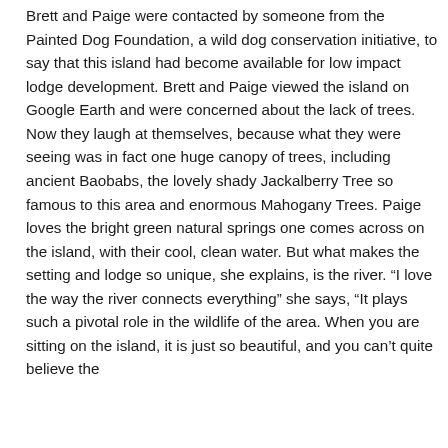Brett and Paige were contacted by someone from the Painted Dog Foundation, a wild dog conservation initiative, to say that this island had become available for low impact lodge development. Brett and Paige viewed the island on Google Earth and were concerned about the lack of trees. Now they laugh at themselves, because what they were seeing was in fact one huge canopy of trees, including ancient Baobabs, the lovely shady Jackalberry Tree so famous to this area and enormous Mahogany Trees. Paige loves the bright green natural springs one comes across on the island, with their cool, clean water. But what makes the setting and lodge so unique, she explains, is the river. “I love the way the river connects everything” she says, “It plays such a pivotal role in the wildlife of the area. When you are sitting on the island, it is just so beautiful, and you can’t quite believe the